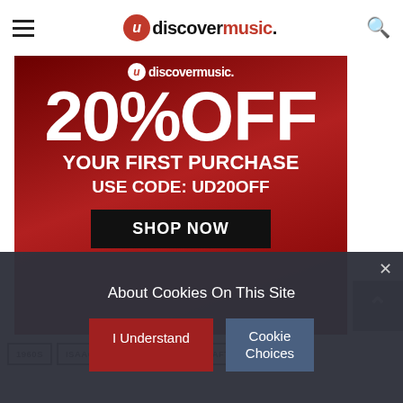udiscovermusic.
[Figure (infographic): Advertisement banner for uDiscoverMusic showing 20% OFF YOUR FIRST PURCHASE USE CODE: UD20OFF with a SHOP NOW button on a red background]
1960S
ISAAC HAYES
MALE
SHAFT
SOUL
About Cookies On This Site
I Understand
Cookie Choices